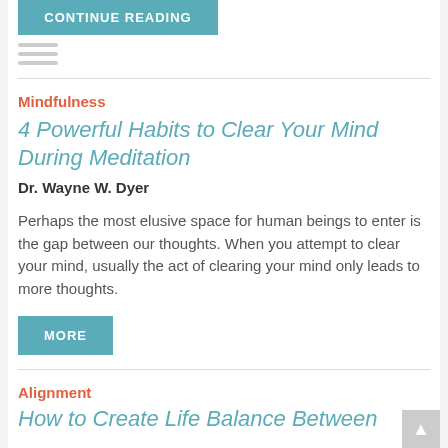CONTINUE READING
Mindfulness
4 Powerful Habits to Clear Your Mind During Meditation
Dr. Wayne W. Dyer
Perhaps the most elusive space for human beings to enter is the gap between our thoughts. When you attempt to clear your mind, usually the act of clearing your mind only leads to more thoughts.
MORE
Alignment
How to Create Life Balance Between